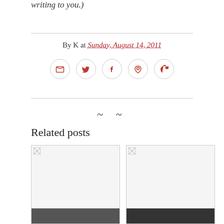writing to you.)
By K at Sunday, August 14, 2011
[Figure (infographic): Social sharing icons: email, Twitter, Facebook, Pinterest, WhatsApp — each in a circular outline button]
Related posts
[Figure (photo): Broken image placeholder for related post about travel bloggers]
blogging, Food amp; Travel
How travel bloggers travel for free
[Figure (photo): Broken image placeholder for related post about Six Must-Haves]
blogging, Home amp; Decor
Six Must-Haves to Plan & Organize for the New Year
[Figure (photo): Partial image visible at bottom left]
[Figure (photo): Partial image visible at bottom right]